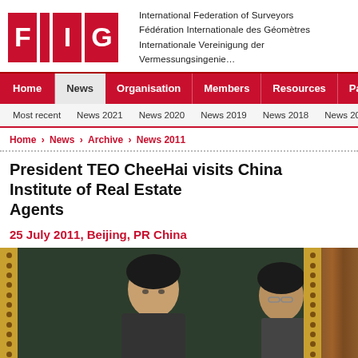[Figure (logo): FIG logo with three red blocks spelling F I G]
International Federation of Surveyors
Fédération Internationale des Géomètres
Internationale Vereinigung der Vermessungsingenieure
Home | News | Organisation | Members | Resources | Partners
Most recent | News 2021 | News 2020 | News 2019 | News 2018 | News 2017
Home › News › Archive › News 2011
President TEO CheeHai visits China Institute of Real Estate Agents
25 July 2011, Beijing, PR China
[Figure (photo): Photo of two people, one facing forward with glasses partially visible, ornamental gold border strips on left and between them, wooden panel on the right]